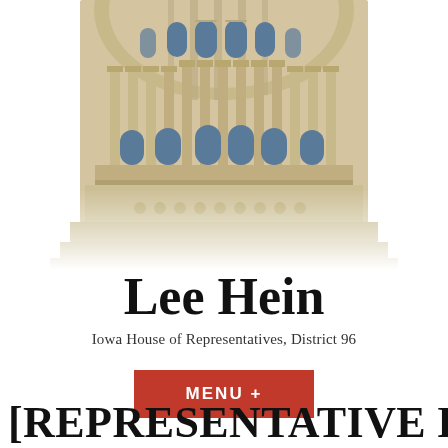[Figure (photo): Photograph of the Iowa State Capitol building dome, showing neoclassical architecture with columns, arched windows, and ornate stonework. The image is cropped to show the upper portion of the dome against a white background.]
Lee Hein
Iowa House of Representatives, District 96
MENU +
[REPRESENTATIVE H